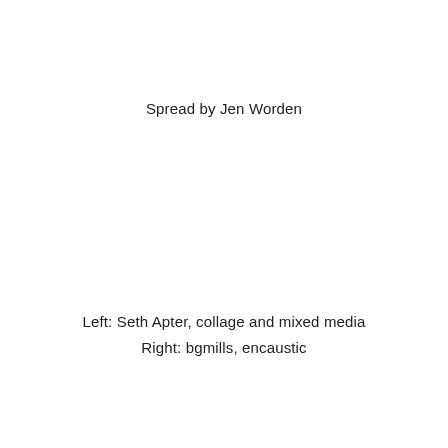Spread by Jen Worden
Left: Seth Apter, collage and mixed media
Right: bgmills, encaustic